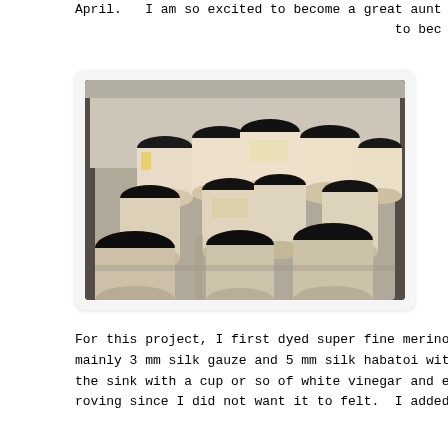April.   I am so excited to become a great aunt
                                              to bec
[Figure (photo): Multiple cylindrical containers with black lids stored in a clear plastic storage bin, viewed from above at an angle. The containers appear to be dye or pigment jars with labels.]
For this project, I first dyed super fine merino w
mainly 3 mm silk gauze and 5 mm silk habatoi with
the sink with a cup or so of white vinegar and end
roving since I did not want it to felt.  I added t